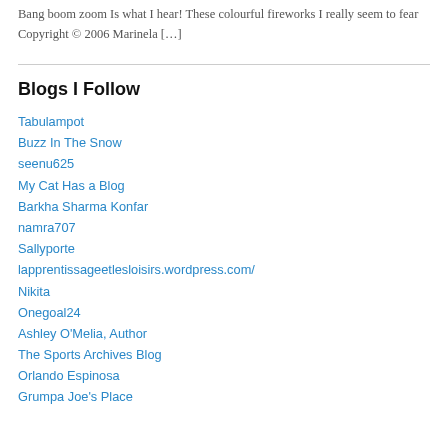Bang boom zoom Is what I hear! These colourful fireworks I really seem to fear Copyright © 2006 Marinela […]
Blogs I Follow
Tabulampot
Buzz In The Snow
seenu625
My Cat Has a Blog
Barkha Sharma Konfar
namra707
Sallyporte
lapprentissageetlesloisirs.wordpress.com/
Nikita
Onegoal24
Ashley O'Melia, Author
The Sports Archives Blog
Orlando Espinosa
Grumpa Joe's Place